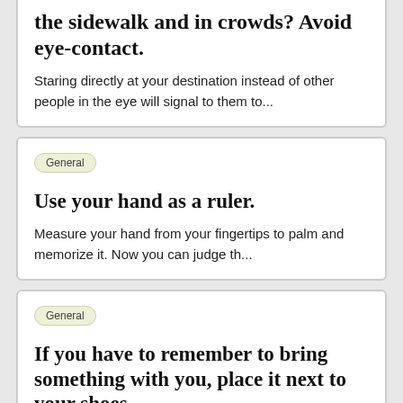the sidewalk and in crowds? Avoid eye-contact.
Staring directly at your destination instead of other people in the eye will signal to them to...
General
Use your hand as a ruler.
Measure your hand from your fingertips to palm and memorize it. Now you can judge th...
General
If you have to remember to bring something with you, place it next to your shoes.